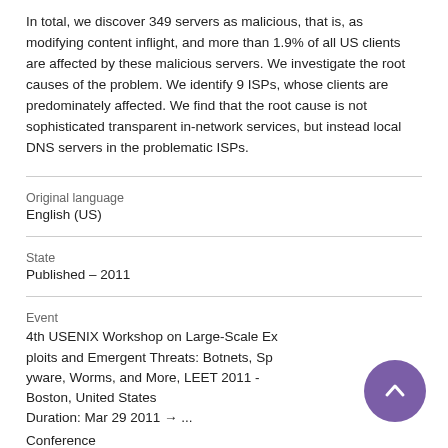In total, we discover 349 servers as malicious, that is, as modifying content inflight, and more than 1.9% of all US clients are affected by these malicious servers. We investigate the root causes of the problem. We identify 9 ISPs, whose clients are predominately affected. We find that the root cause is not sophisticated transparent in-network services, but instead local DNS servers in the problematic ISPs.
| Field | Value |
| --- | --- |
| Original language | English (US) |
| State | Published – 2011 |
| Event | 4th USENIX Workshop on Large-Scale Exploits and Emergent Threats: Botnets, Spyware, Worms, and More, LEET 2011 - Boston, United States
Duration: Mar 29 2011 → ...
Conference |